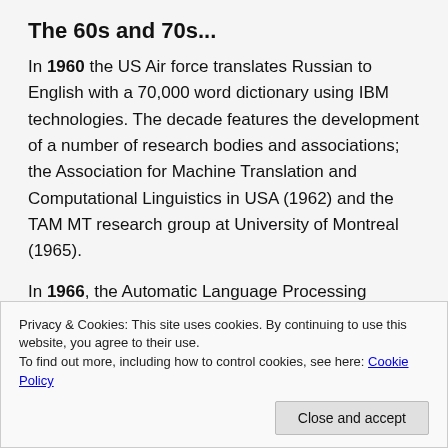The 60s and 70s...
In 1960 the US Air force translates Russian to English with a 70,000 word dictionary using IBM technologies. The decade features the development of a number of research bodies and associations; the Association for Machine Translation and Computational Linguistics in USA (1962) and the TAM MT research group at University of Montreal (1965).
In 1966, the Automatic Language Processing Advisory Committee (ALPAC) finds that Machine Translation
Privacy & Cookies: This site uses cookies. By continuing to use this website, you agree to their use.
To find out more, including how to control cookies, see here: Cookie Policy